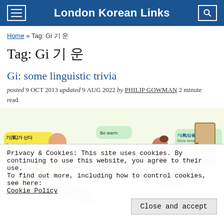London Korean Links
Home » Tag: Gi 기 운
Tag: Gi 기 운
Gi: some linguistic trivia
posted 9 OCT 2013 updated 9 AUG 2022 by PHILIP GOWMAN 2 minute read
[Figure (illustration): Colorful cartoon illustration showing Korean characters and children in energetic poses, with Korean text including 기(氣)가 산다 (Feel energetic), Fighting, Be warm, 기(氣)임을 토하다 (Show remarkable performance)]
Privacy & Cookies: This site uses cookies. By continuing to use this website, you agree to their use.
To find out more, including how to control cookies, see here:
Cookie Policy
Close and accept